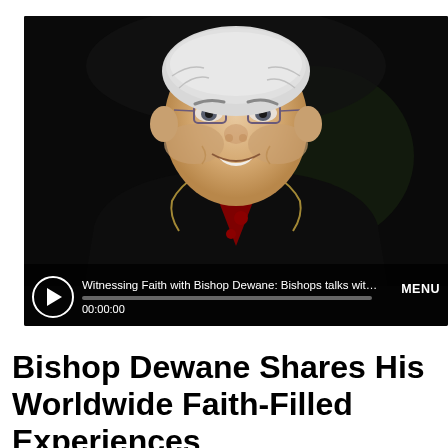[Figure (photo): A smiling elderly bishop with white hair and glasses wearing black clerical vestments with red trim and a pectoral chain, set against a dark background. A video player interface overlay is visible at the bottom with a play button, title 'Witnessing Faith with Bishop Dewane: Bishops talks with ...', progress bar, timestamp '00:00:00', and MENU button.]
Bishop Dewane Shares His Worldwide Faith-Filled Experiences